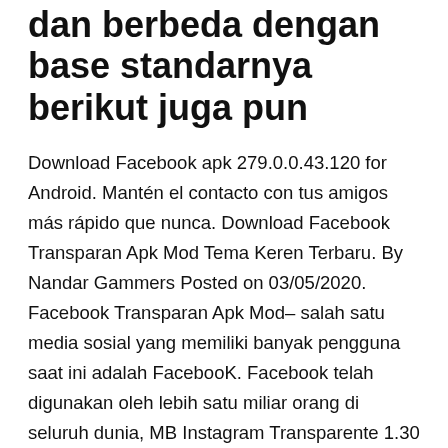dan berbeda dengan base standarnya berikut juga pun
Download Facebook apk 279.0.0.43.120 for Android. Mantén el contacto con tus amigos más rápido que nunca. Download Facebook Transparan Apk Mod Tema Keren Terbaru. By Nandar Gammers Posted on 03/05/2020. Facebook Transparan Apk Mod– salah satu media sosial yang memiliki banyak pengguna saat ini adalah FacebooK. Facebook telah digunakan oleh lebih satu miliar orang di seluruh dunia, MB Instagram Transparente 1.30 es la última versión disponible de uno de los mejores MODs para Android. Al descargar Instagram transparente APK podrás desbloquear una gran cantidad de funciones que no se pueden encontrar en la versión original. Además, este MOD está especialmente diseñado para aquellos que desean una interfaz transparente al completo, y una vez lo instales podrás Whatsapp